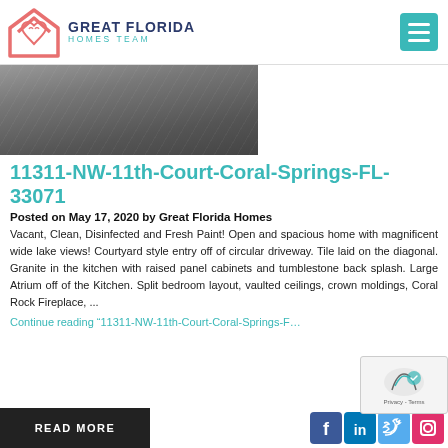Great Florida Homes Team
[Figure (photo): Dark grey/concrete surface photo strip]
11311-NW-11th-Court-Coral-Springs-FL-33071
Posted on May 17, 2020 by Great Florida Homes
Vacant, Clean, Disinfected and Fresh Paint! Open and spacious home with magnificent wide lake views! Courtyard style entry off of circular driveway. Tile laid on the diagonal. Granite in the kitchen with raised panel cabinets and tumblestone back splash. Large Atrium off of the Kitchen. Split bedroom layout, vaulted ceilings, crown moldings, Coral Rock Fireplace, ...
Continue reading “11311-NW-11th-Court-Coral-Springs-F…
READ MORE